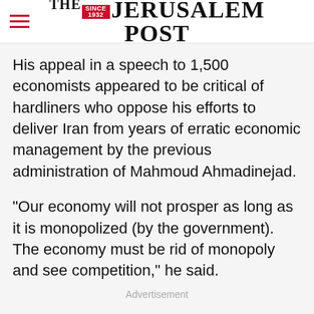THE JERUSALEM POST
His appeal in a speech to 1,500 economists appeared to be critical of hardliners who oppose his efforts to deliver Iran from years of erratic economic management by the previous administration of Mahmoud Ahmadinejad.
"Our economy will not prosper as long as it is monopolized (by the government). The economy must be rid of monopoly and see competition," he said.
Advertisement